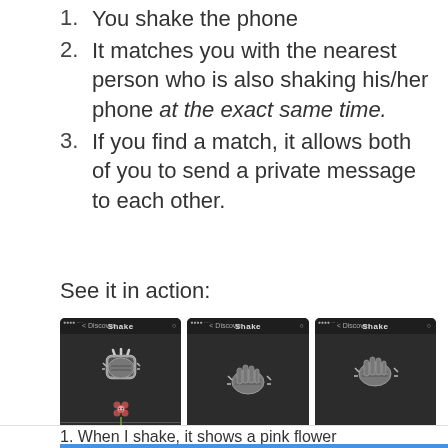1. You shake the phone
2. It matches you with the nearest person who is also shaking his/her phone at the exact same time.
3. If you find a match, it allows both of you to send a private message to each other.
See it in action:
[Figure (screenshot): Three smartphone screenshots showing the WeChat Shake feature. First screen shows a hand shaking phone with a pink flower icon and another hand below. Second screen shows a hand shaking the phone with 'Looking for persons shaking their phones...' text. Third screen shows a hand shaking the phone with a match notification popup.]
1. When I shake, it shows a pink flower